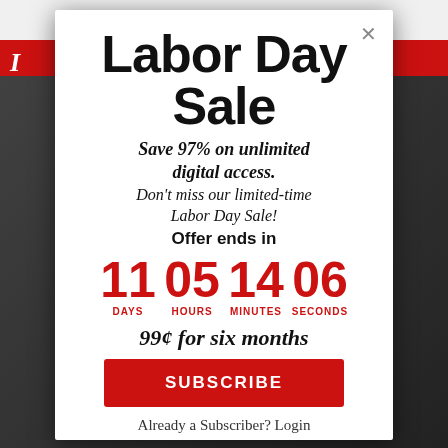Labor Day Sale
Save 97% on unlimited digital access. Don't miss our limited-time Labor Day Sale! Offer ends in
11 DAYS  05 HOURS  14 MINUTES  06 SECONDS
99¢ for six months
SUBSCRIBE
Already a Subscriber? Login